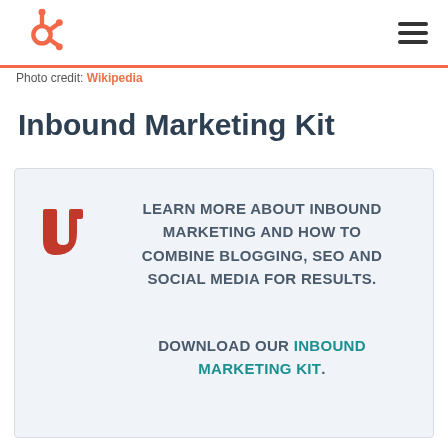HubSpot logo and navigation
Photo credit: Wikipedia
Inbound Marketing Kit
LEARN MORE ABOUT INBOUND MARKETING AND HOW TO COMBINE BLOGGING, SEO AND SOCIAL MEDIA FOR RESULTS.

DOWNLOAD OUR INBOUND MARKETING KIT.